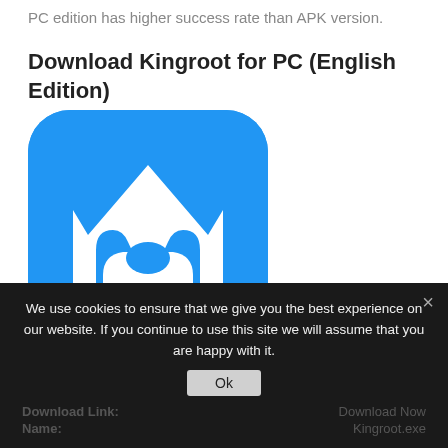PC edition has higher success rate than APK version.
Download Kingroot for PC (English Edition)
[Figure (logo): Kingroot app logo: blue rounded square with white crown/trident icon]
[Figure (screenshot): Download button image with blue icon on left and 'Download' text in bold black on textured gray background]
We use cookies to ensure that we give you the best experience on our website. If you continue to use this site we will assume that you are happy with it.
Download Link:
Download Now
Name:
Kingroot.exe